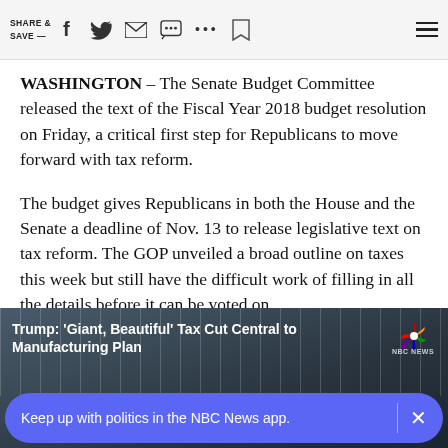SHARE & SAVE —  [social icons]
WASHINGTON – The Senate Budget Committee released the text of the Fiscal Year 2018 budget resolution on Friday, a critical first step for Republicans to move forward with tax reform.
The budget gives Republicans in both the House and the Senate a deadline of Nov. 13 to release legislative text on tax reform. The GOP unveiled a broad outline on taxes this week but still have the difficult work of filling in all the details before it can be voted on.
[Figure (screenshot): NBC News video thumbnail with headline: Trump: 'Giant, Beautiful' Tax Cut Central to Manufacturing Plan]
Trump: 'Giant, Beautiful' Tax Cut Central to Manufacturing Plan
Keep up with politics in the NBC News app.